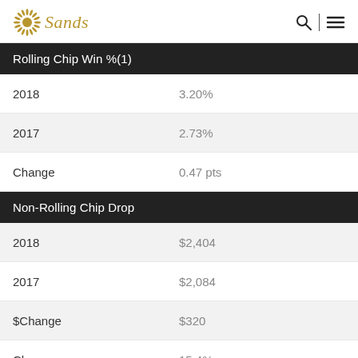Sands
Rolling Chip Win %(1)
|  |  |
| --- | --- |
| 2018 | 3.20% |
| 2017 | 2.73% |
| Change | 0.47 pts |
Non-Rolling Chip Drop
|  |  |
| --- | --- |
| 2018 | $2,404 |
| 2017 | $2,084 |
| $Change | $320 |
| Change | 15.4% |